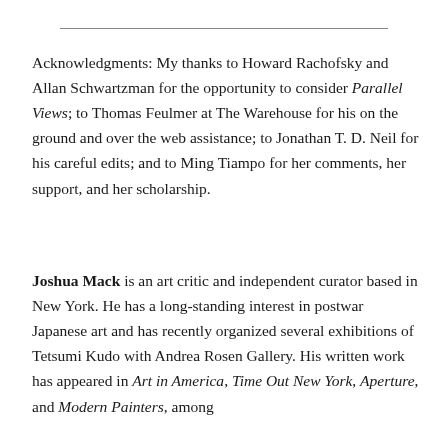Acknowledgments: My thanks to Howard Rachofsky and Allan Schwartzman for the opportunity to consider Parallel Views; to Thomas Feulmer at The Warehouse for his on the ground and over the web assistance; to Jonathan T. D. Neil for his careful edits; and to Ming Tiampo for her comments, her support, and her scholarship.
Joshua Mack is an art critic and independent curator based in New York. He has a long-standing interest in postwar Japanese art and has recently organized several exhibitions of Tetsumi Kudo with Andrea Rosen Gallery. His written work has appeared in Art in America, Time Out New York, Aperture, and Modern Painters, among